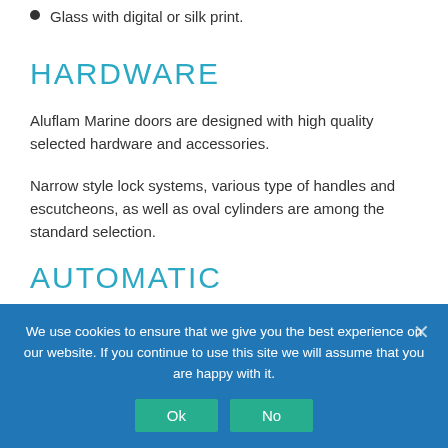Glass with digital or silk print.
HARDWARE
Aluflam Marine doors are designed with high quality selected hardware and accessories.
Narrow style lock systems, various type of handles and escutcheons, as well as oval cylinders are among the standard selection.
AUTOMATIC
We use cookies to ensure that we give you the best experience on our website. If you continue to use this site we will assume that you are happy with it.